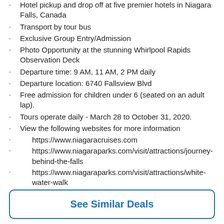Hotel pickup and drop off at five premier hotels in Niagara Falls, Canada
Transport by tour bus
Exclusive Group Entry/Admission
Photo Opportunity at the stunning Whirlpool Rapids Observation Deck
Departure time: 9 AM, 11 AM, 2 PM daily
Departure location: 6740 Fallsview Blvd
Free admission for children under 6 (seated on an adult lap).
Tours operate daily - March 28 to October 31, 2020.
View the following websites for more information
https://www.niagaracruises.com
https://www.niagaraparks.com/visit/attractions/journey-behind-the-falls
https://www.niagaraparks.com/visit/attractions/white-water-walk
Plan Ahead
Online reservation required
See Similar Deals